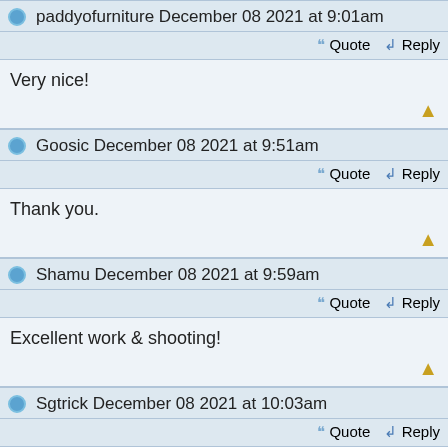paddyofurniture December 08 2021 at 9:01am
Quote  Reply
Very nice!
Goosic December 08 2021 at 9:51am
Quote  Reply
Thank you.
Shamu December 08 2021 at 9:59am
Quote  Reply
Excellent work & shooting!
Sgtrick December 08 2021 at 10:03am
Quote  Reply